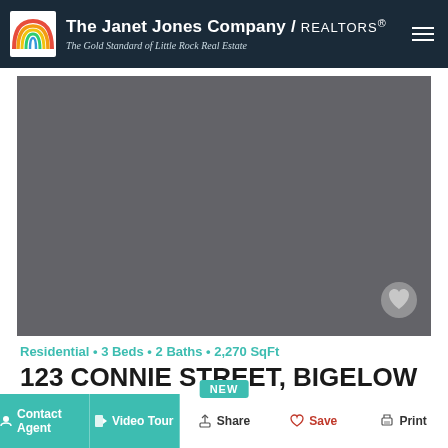[Figure (logo): The Janet Jones Company / REALTORS logo with rainbow arc graphic. Tagline: The Gold Standard of Little Rock Real Estate]
[Figure (photo): Property listing photo placeholder — solid gray rectangle with a heart/favorite icon in the bottom right corner]
Residential • 3 Beds • 2 Baths • 2,270 SqFt
123 CONNIE STREET, BIGELOW
Contact Agent | Video Tour | Share | Save | Print